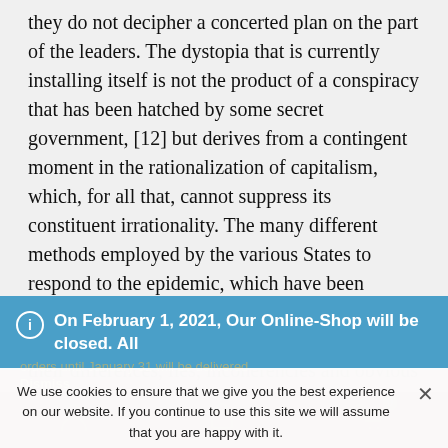they do not decipher a concerted plan on the part of the leaders. The dystopia that is currently installing itself is not the product of a conspiracy that has been hatched by some secret government, [12] but derives from a contingent moment in the rationalization of capitalism, which, for all that, cannot suppress its constituent irrationality. The many different methods employed by the various States to respond to the epidemic, which have been improvised and matched to the means at hand, furnish the glaring truth of this. On the contrary, their differences, lies, incoherencies and obvious errors show the
On February 1, 2021, Our Online-Shop will be closed. All orders until January 31 will be delivered
Dismiss
We use cookies to ensure that we give you the best experience on our website. If you continue to use this site we will assume that you are happy with it.
Ok